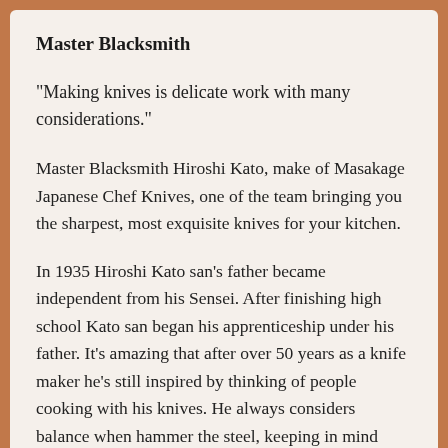Master Blacksmith
"Making knives is delicate work with many considerations."
Master Blacksmith Hiroshi Kato, make of Masakage Japanese Chef Knives, one of the team bringing you the sharpest, most exquisite knives for your kitchen.
In 1935 Hiroshi Kato san's father became independent from his Sensei. After finishing high school Kato san began his apprenticeship under his father. It's amazing that after over 50 years as a knife maker he's still inspired by thinking of people cooking with his knives. He always considers balance when hammer the steel, keeping in mind where a knife needs to be thin and